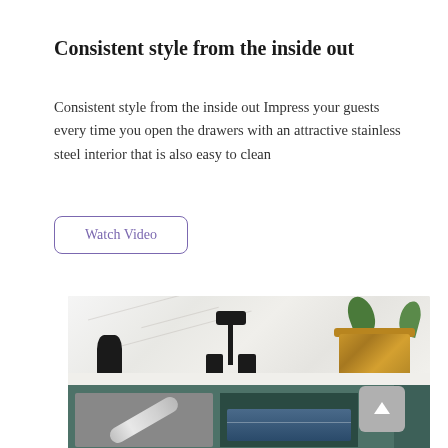Consistent style from the inside out
Consistent style from the inside out Impress your guests every time you open the drawers with an attractive stainless steel interior that is also easy to clean
[Figure (other): A 'Watch Video' button with rounded rectangle border in purple/violet color]
[Figure (photo): Kitchen scene showing a marble countertop with a black faucet, a golden/bronze plant pot with green plant, a black decorative vase, and below the counter are teal/green cabinets with a metallic drawer handle visible on the left drawer and an open drawer on the right showing items inside. A scroll-to-top arrow button appears in the bottom right corner.]